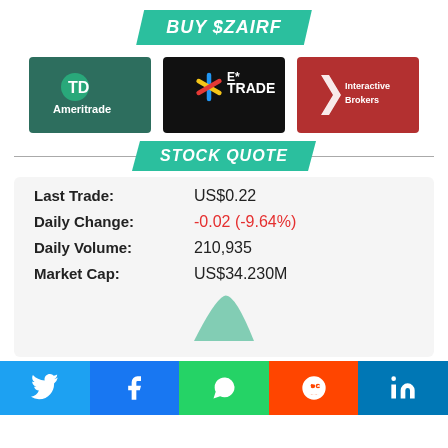BUY $ZAIRF
[Figure (logo): TD Ameritrade logo - teal/green background with TD and Ameritrade text in white]
[Figure (logo): E*TRADE logo - black background with blue/yellow asterisk star and white E*TRADE text]
[Figure (logo): Interactive Brokers logo - red background with white arrow/brokers icon and white InteractiveBrokers text]
STOCK QUOTE
| Last Trade: | US$0.22 |
| Daily Change: | -0.02 (-9.64%) |
| Daily Volume: | 210,935 |
| Market Cap: | US$34.230M |